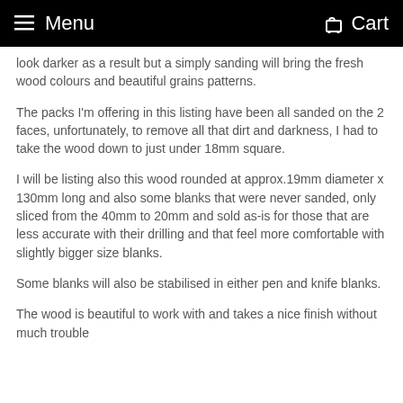Menu  Cart
look darker as a result but a simply sanding will bring the fresh wood colours and beautiful grains patterns.
The packs I'm offering in this listing have been all sanded on the 2 faces, unfortunately, to remove all that dirt and darkness, I had to take the wood down to just under 18mm square.
I will be listing also this wood rounded at approx.19mm diameter x 130mm long and also some blanks that were never sanded, only sliced from the 40mm to 20mm and sold as-is for those that are less accurate with their drilling and that feel more comfortable with slightly bigger size blanks.
Some blanks will also be stabilised in either pen and knife blanks.
The wood is beautiful to work with and takes a nice finish without much trouble